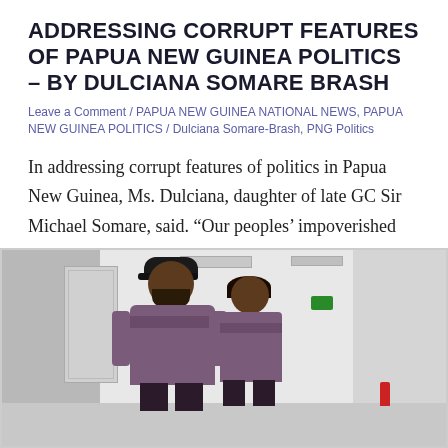ADDRESSING CORRUPT FEATURES OF PAPUA NEW GUINEA POLITICS – BY DULCIANA SOMARE BRASH
Leave a Comment / PAPUA NEW GUINEA NATIONAL NEWS, PAPUA NEW GUINEA POLITICS / Dulciana Somare-Brash, PNG Politics
In addressing corrupt features of politics in Papua New Guinea, Ms. Dulciana, daughter of late GC Sir Michael Somare, said. “Our peoples’ impoverished status will…
[Figure (photo): Two people standing together in what appears to be an indoor room or building. Both are wearing matching purple/maroon sports singlets. The person on the left is a larger bearded man wearing a black cap. The person on the right is a woman with short hair, smiling. The background shows a plain room with white/grey walls, ceiling vents, a door, a green exit sign, and a red fire extinguisher on the wall.]